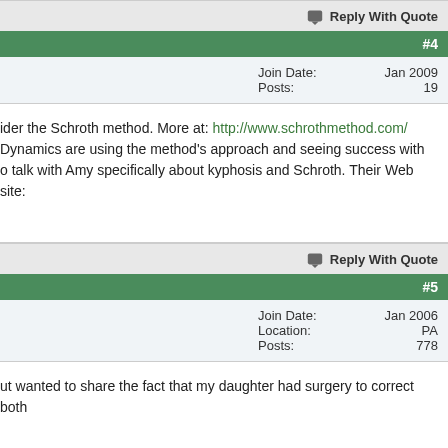Reply With Quote
#4
Join Date: Jan 2009
Posts: 19
ider the Schroth method. More at: http://www.schrothmethod.com/ Dynamics are using the method's approach and seeing success with o talk with Amy specifically about kyphosis and Schroth. Their Web site:
Reply With Quote
#5
Join Date: Jan 2006
Location: PA
Posts: 778
ut wanted to share the fact that my daughter had surgery to correct both